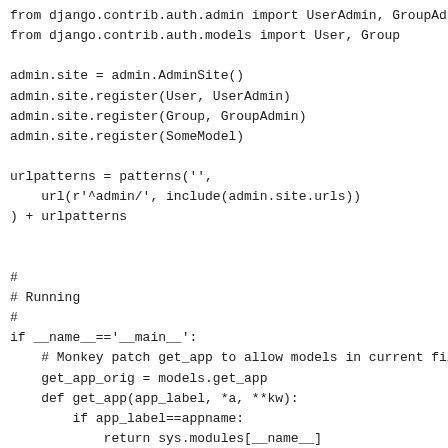from django.contrib.auth.admin import UserAdmin, GroupAd
from django.contrib.auth.models import User, Group

admin.site = admin.AdminSite()
admin.site.register(User, UserAdmin)
admin.site.register(Group, GroupAdmin)
admin.site.register(SomeModel)

urlpatterns = patterns('',
    url(r'^admin/', include(admin.site.urls))
) + urlpatterns


#
# Running
#
if __name__=='__main__':
    # Monkey patch get_app to allow models in current fil
    get_app_orig = models.get_app
    def get_app(app_label, *a, **kw):
        if app_label==appname:
            return sys.modules[__name__]
        return get_app_orig(app_label, *a, **kw)
    models.get_app = get_app

    # Add models in current file to global list of apps
    models.loading.cache.app_store[type(appname+'.models'